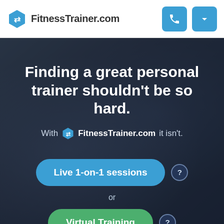FitnessTrainer.com
Finding a great personal trainer shouldn't be so hard.
With FitnessTrainer.com it isn't.
Live 1-on-1 sessions
or
Virtual Training